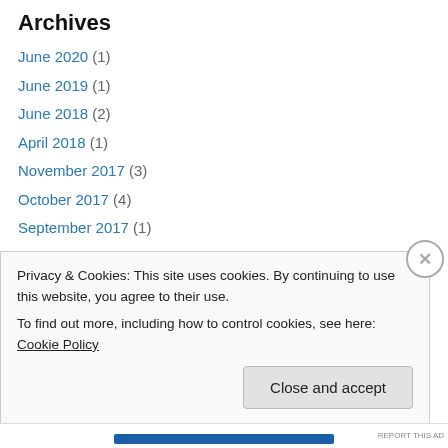Archives
June 2020 (1)
June 2019 (1)
June 2018 (2)
April 2018 (1)
November 2017 (3)
October 2017 (4)
September 2017 (1)
July 2017 (3)
June 2017 (5)
May 2017 (3)
April 2017 (2)
March 2017 (2)
Privacy & Cookies: This site uses cookies. By continuing to use this website, you agree to their use. To find out more, including how to control cookies, see here: Cookie Policy
Close and accept